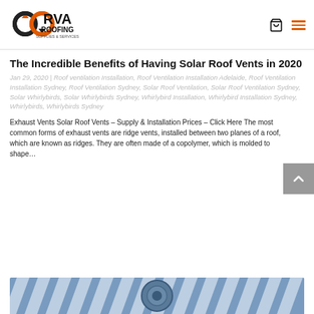[Figure (logo): RVA Roofing Supplies & Services logo with infinity/arrows icon in black and orange]
The Incredible Benefits of Having Solar Roof Vents in 2020
Jan 29, 2020 | Roof ventilation Installation, Roof Ventilation Installation Adelaide, Roof Ventilation Installation Sydney, Roof Ventilation Sydney, Solar Roof Ventilation, Solar Roof Ventilation Sydney, Solar Whirlybirds, Solar Whirlybirds Sydney, Whirlybird Installation, Whirlybird Installation Sydney, Whirlybirds, Whirlybirds Sydney
Exhaust Vents Solar Roof Vents  – Supply & Installation Prices – Click Here The most common forms of exhaust vents are ridge vents, installed between two planes of a roof, which are known as ridges. They are often made of a copolymer, which is molded to shape…
[Figure (photo): Aerial photo of a corrugated metal roof with blue and white striped pattern showing a whirlybird/rooftop vent installation]